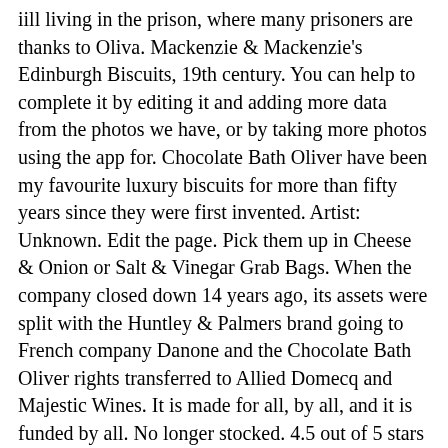iill living in the prison, where many prisoners are thanks to Oliva. Mackenzie & Mackenzie's Edinburgh Biscuits, 19th century. You can help to complete it by editing it and adding more data from the photos we have, or by taking more photos using the app for. Chocolate Bath Oliver have been my favourite luxury biscuits for more than fifty years since they were first invented. Artist: Unknown. Edit the page. Pick them up in Cheese & Onion or Salt & Vinegar Grab Bags. When the company closed down 14 years ago, its assets were split with the Huntley & Palmers brand going to French company Danone and the Chocolate Bath Oliver rights transferred to Allied Domecq and Majestic Wines. It is made for all, by all, and it is funded by all. No longer stocked. 4.5 out of 5 stars (13) Item price. and the Facebook group for contributors When he died in 1764 he left to his coachman, a man named Atkins: £100, a hundred bags of flour and the recipe for Bath Oliver Biscuits. One person found this helpful. And he added: “Will you please tell your readers that we are also working on bringing back the Breakfast Biscuit. The official company address is in Reading once again, but the biscuits are baked at various craft bakeries across the country. Tag Archives: Jacobs biscuits history Biscuits & cakes. Explore our wide product range to find out more about your favourites, and maybe learn a thing about one or two new ones along the way. CREATOR: gd-jpeg v1.0 (using IJG JPEG v62), default quality. of flour. The poor man's "Bath Oliver" biscuits! This page serves as a summary for information purposes and we do not intend to make any profit or in any way on the